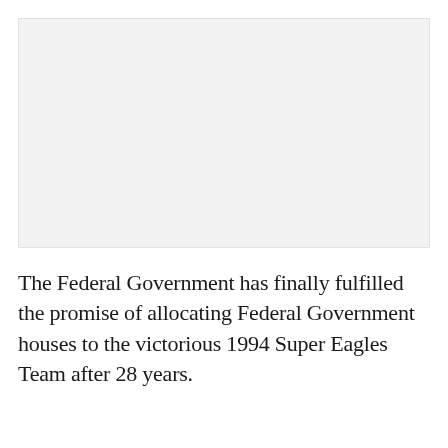[Figure (photo): Placeholder image area, light gray background representing a photo.]
The Federal Government has finally fulfilled the promise of allocating Federal Government houses to the victorious 1994 Super Eagles Team after 28 years.